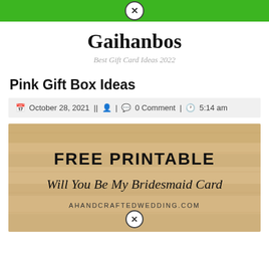Gaihanbos — Best Gift Card Ideas 2022
Gaihanbos
Best Gift Card Ideas 2022
Pink Gift Box Ideas
October 28, 2021 || | 0 Comment | 5:14 am
[Figure (photo): Free printable bridesmaid card on a wood background. Text reads: FREE PRINTABLE Will You Be My Bridesmaid Card AHANDCRAFTEDWEDDING.COM]